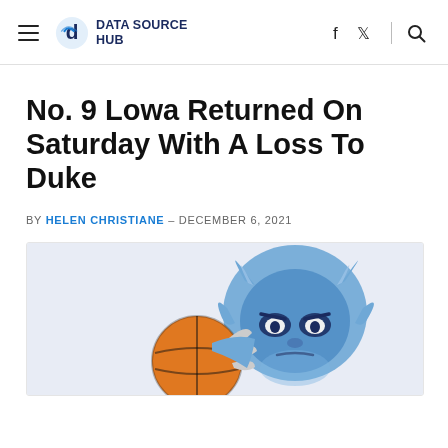DATA SOURCE HUB
No. 9 Lowa Returned On Saturday With A Loss To Duke
BY HELEN CHRISTIANE – DECEMBER 6, 2021
[Figure (illustration): Blue devil cartoon mascot holding a basketball, depicted as a blue demon character with horns and claws, part of the article illustration for Duke basketball.]